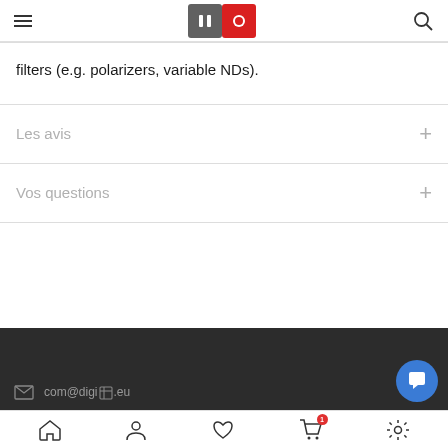Header with hamburger menu, logo (pause + record icons), and search icon
filters (e.g. polarizers, variable NDs).
Les avis
Vos questions
com@digi[logo].eu